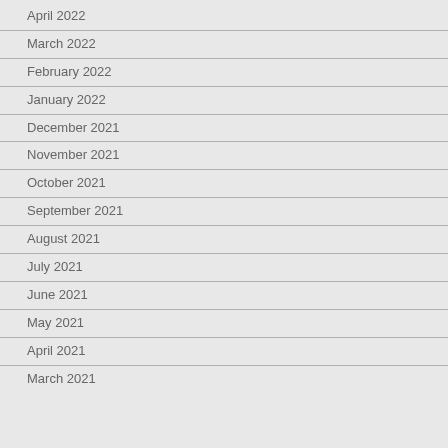April 2022
March 2022
February 2022
January 2022
December 2021
November 2021
October 2021
September 2021
August 2021
July 2021
June 2021
May 2021
April 2021
March 2021